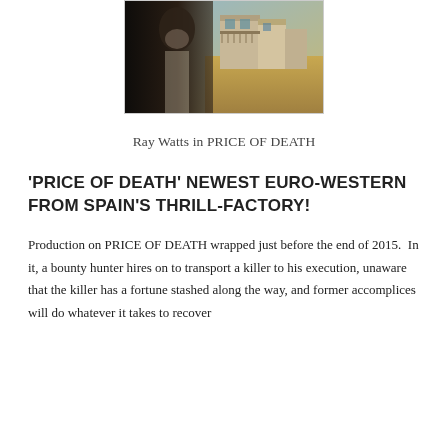[Figure (photo): Photo of Ray Watts in a Western town setting, man with grey beard in dark jacket in foreground, old western-style buildings in background]
Ray Watts in PRICE OF DEATH
'PRICE OF DEATH' NEWEST EURO-WESTERN FROM SPAIN'S THRILL-FACTORY!
Production on PRICE OF DEATH wrapped just before the end of 2015.  In it, a bounty hunter hires on to transport a killer to his execution, unaware that the killer has a fortune stashed along the way, and former accomplices will do whatever it takes to recover